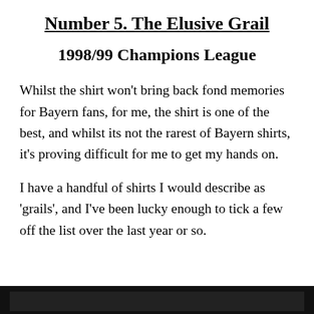Number 5. The Elusive Grail
1998/99 Champions League
Whilst the shirt won't bring back fond memories for Bayern fans, for me, the shirt is one of the best, and whilst its not the rarest of Bayern shirts, it's proving difficult for me to get my hands on.
I have a handful of shirts I would describe as 'grails', and I've been lucky enough to tick a few off the list over the last year or so.
[Figure (photo): Dark/black image bar at the bottom of the page, partially visible]